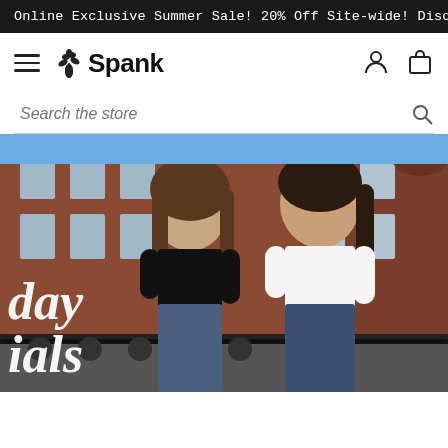Online Exclusive Summer Sale! 20% Off Site-wide! Discount will be
[Figure (logo): Spank store logo with flower/plant icon and bold 'Spank' wordmark]
[Figure (screenshot): Navigation bar with hamburger menu, Spank logo, user account icon and shopping bag icon]
Search the store
[Figure (photo): Two young women smiling outdoors in front of a red brick building on a sunny day. One wears a black crop top, the other a white crop top. Both wear jeans. Overlaid text reads 'day' and 'ials' on the left side.]